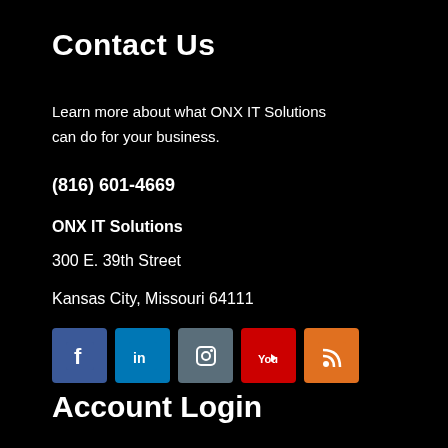Contact Us
Learn more about what ONX IT Solutions can do for your business.
(816) 601-4669
ONX IT Solutions
300 E. 39th Street
Kansas City, Missouri 64111
[Figure (illustration): Row of five social media icon buttons: Facebook (blue), LinkedIn (blue), Instagram (grey-blue), YouTube (red), RSS (orange)]
Account Login
Your Email
Password